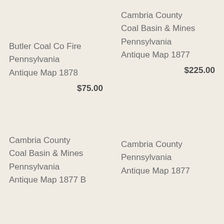Butler Coal Co Fire Pennsylvania Antique Map 1878
$75.00
Cambria County Coal Basin & Mines Pennsylvania Antique Map 1877
$225.00
Cambria County Coal Basin & Mines Pennsylvania Antique Map 1877 B
Cambria County Pennsylvania Antique Map 1877